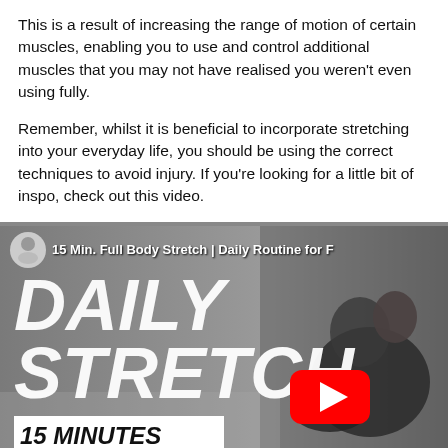This is a result of increasing the range of motion of certain muscles, enabling you to use and control additional muscles that you may not have realised you weren't even using fully.
Remember, whilst it is beneficial to incorporate stretching into your everyday life, you should be using the correct techniques to avoid injury. If you're looking for a little bit of inspo, check out this video.
[Figure (screenshot): YouTube video thumbnail for '15 Min. Full Body Stretch | Daily Routine for F...' showing a woman in a black top stretching/bending forward. The thumbnail text reads 'DAILY STRETCH' in large white italic letters and '15 MINUTES' in a white box. A YouTube play button is visible in the center-right area.]